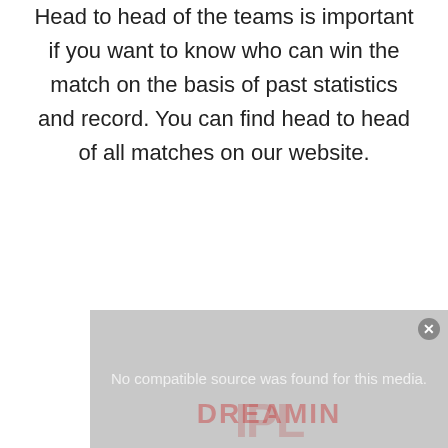Head to head of the teams is important if you want to know who can win the match on the basis of past statistics and record. You can find head to head of all matches on our website.
[Figure (other): A media player placeholder box with grey background showing 'No compatible source was found for this media.' text and a close button (X) in the top right corner. A faint red watermark/logo is visible in the background.]